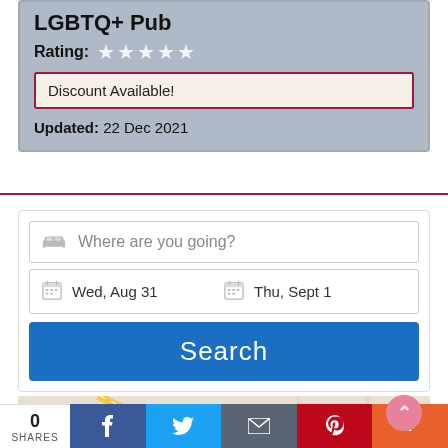LGBTQ+ Pub
Rating: ★★★★★
Discount Available!
Updated: 22 Dec 2021
Where are you going?
Wed, Aug 31   Thu, Sept 1
Search
[Figure (map): Street map showing roads including A10 and Stepp street]
0 SHARES
f  Twitter bird  envelope  Pinterest  More